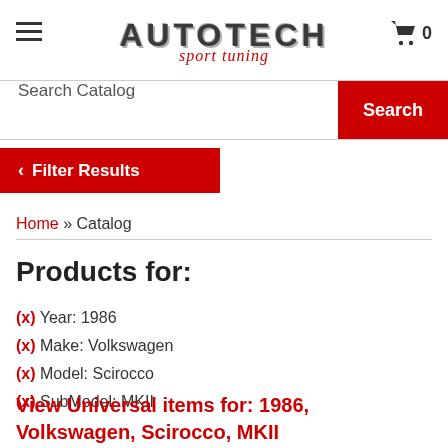AUTOTECH sport tuning
Search Catalog
Search
< Filter Results
Home » Catalog
Products for:
(X) Year: 1986
(X) Make: Volkswagen
(X) Model: Scirocco
(X) SubModel: MKII
View Universal items for: 1986, Volkswagen, Scirocco, MKII